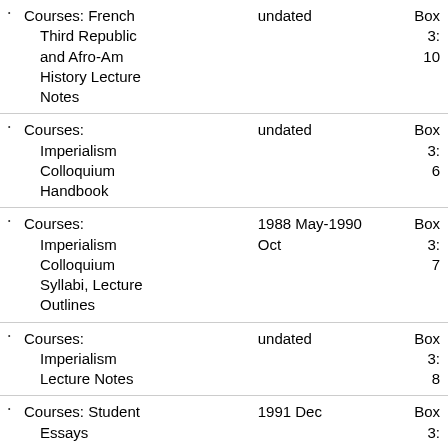Courses: French Third Republic and Afro-Am History Lecture Notes — undated — Box 3: 10
Courses: Imperialism Colloquium Handbook — undated — Box 3: 6
Courses: Imperialism Colloquium Syllabi, Lecture Outlines — 1988 May-1990 Oct — Box 3: 7
Courses: Imperialism Lecture Notes — undated — Box 3: 8
Courses: Student Essays — 1991 Dec — Box 3: